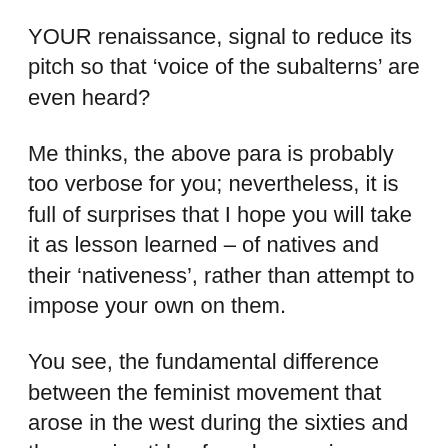YOUR renaissance, signal to reduce its pitch so that ‘voice of the subalterns’ are even heard?
Me thinks, the above para is probably too verbose for you; nevertheless, it is full of surprises that I hope you will take it as lesson learned – of natives and their ‘nativeness’, rather than attempt to impose your own on them.
You see, the fundamental difference between the feminist movement that arose in the west during the sixties and the growing tide of modern socio-cultural ‘expressionism’ one finds in cultures different than yours is simply this: yours believe in identity of an individual itself to be absolute; our’s do not – we believe our existence or identity to be relative where individuals are only as important as the position they serve in society. Therefore, the ‘struggle’ seen in that